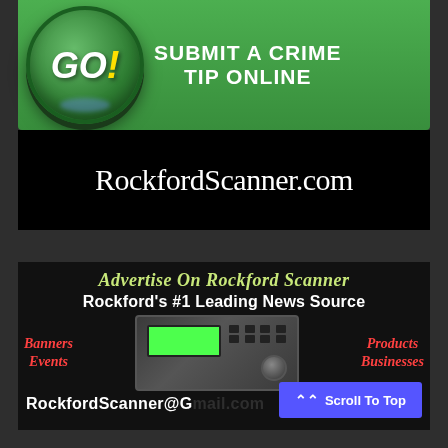[Figure (illustration): Green GO! button with 'SUBMIT A CRIME TIP ONLINE' text on green banner background]
[Figure (logo): RockfordScanner.com logo in white serif text on black background]
[Figure (illustration): Advertise On Rockford Scanner banner with scanner radio image, text: 'Rockford's #1 Leading News Source', categories: Banners, Events, Products, Businesses, email: RockfordScanner@G...]
Scroll To Top